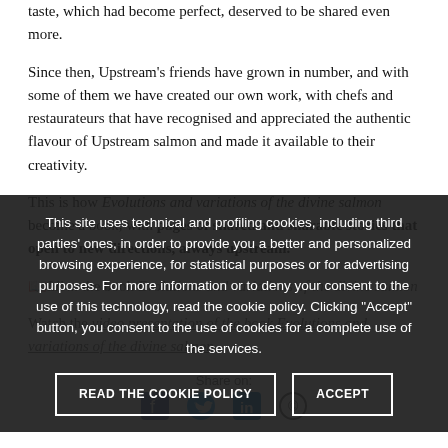taste, which had become perfect, deserved to be shared even more.
Since then, Upstream's friends have grown in number, and with some of them we have created our own work, with chefs and restaurateurs that have recognised and appreciated the authentic flavour of Upstream salmon and made it available to their creativity.
This is how Evolutions and variations of the divine salmon become a book, with pages of shared and sharable stories that open to new directions, always upstream.
Library ... the book Evolutions and variations of the divine salmon
Watch the video presentation of the book Evolutions and variations of the divine salmon
Share on:
This site uses technical and profiling cookies, including third parties' ones, in order to provide you a better and personalized browsing experience, for statistical purposes or for advertising purposes. For more information or to deny your consent to the use of this technology, read the cookie policy. Clicking "Accept" button, you consent to the use of cookies for a complete use of the services.
READ THE COOKIE POLICY
ACCEPT